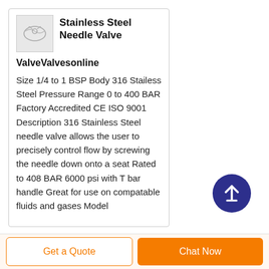[Figure (photo): Small product photo of a stainless steel needle valve, shown in a light gray box]
Stainless Steel Needle Valve
ValveValvesonline
Size 1/4 to 1 BSP Body 316 Stailess Steel Pressure Range 0 to 400 BAR Factory Accredited CE ISO 9001 Description 316 Stainless Steel needle valve allows the user to precisely control flow by screwing the needle down onto a seat Rated to 408 BAR 6000 psi with T bar handle Great for use on compatable fluids and gases Model
[Figure (illustration): Circular scroll-to-top button with dark blue background and white upward arrow]
Get a Quote
Chat Now